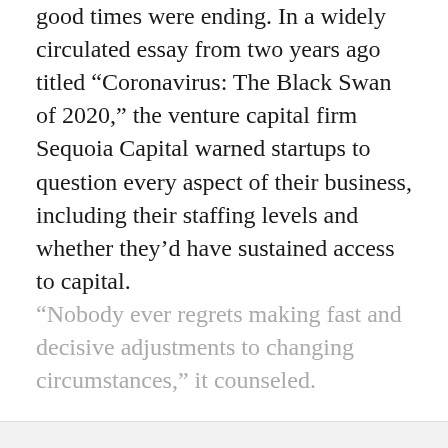good times were ending. In a widely circulated essay from two years ago titled “Coronavirus: The Black Swan of 2020,” the venture capital firm Sequoia Capital warned startups to question every aspect of their business, including their staffing levels and whether they’d have sustained access to capital. “Nobody ever regrets making fast and decisive adjustments to changing circumstances,” it counseled.
Sign up to read this article
Read news from 100’s of titles, curated